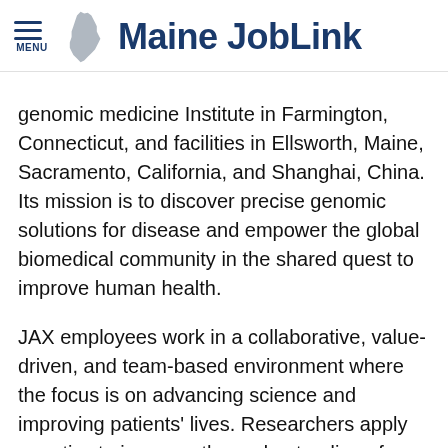Maine JobLink
genomic medicine Institute in Farmington, Connecticut, and facilities in Ellsworth, Maine, Sacramento, California, and Shanghai, China. Its mission is to discover precise genomic solutions for disease and empower the global biomedical community in the shared quest to improve human health.
JAX employees work in a collaborative, value-driven, and team-based environment where the focus is on advancing science and improving patients' lives. Researchers apply genetics to increase the understanding of human disease and advance treatments and cures for cancer, neurological and immune disorders, diabetes, aging, and heart disease. JAX was voted among the top 15 "Best Places to Work in Academia" in the